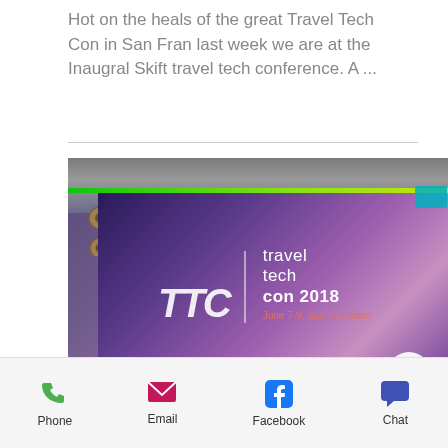Hot on the heals of the great Travel Tech Con in San Fran last week we are at the Inaugral Skift travel tech conference. A ...
[Figure (photo): Photo of a projector screen displaying TTC travel tech con 2018 logo, June 7-9, San Francisco, taken from inside a vehicle or tent-like structure with visible ceiling and green strip lighting.]
Phone  Email  Facebook  Chat